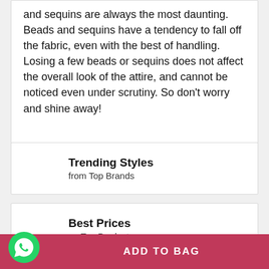and sequins are always the most daunting. Beads and sequins have a tendency to fall off the fabric, even with the best of handling. Losing a few beads or sequins does not affect the overall look of the attire, and cannot be noticed even under scrutiny. So don't worry and shine away!
Trending Styles
from Top Brands
Best Prices
on Top Products
ADD TO BAG